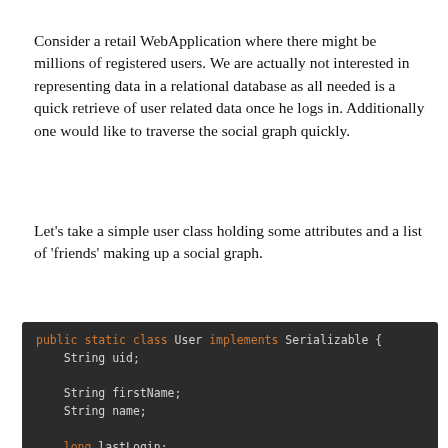Consider a retail WebApplication where there might be millions of registered users. We are actually not interested in representing data in a relational database as all needed is a quick retrieve of user related data once he logs in. Additionally one would like to traverse the social graph quickly.
Let's take a simple user class holding some attributes and a list of 'friends' making up a social graph.
[Figure (screenshot): Code block showing Java class: public static class User implements Serializable { String uid; String firstName; String name; long lastLogin; ArrayList<String> friends = new ArrayList<>();]